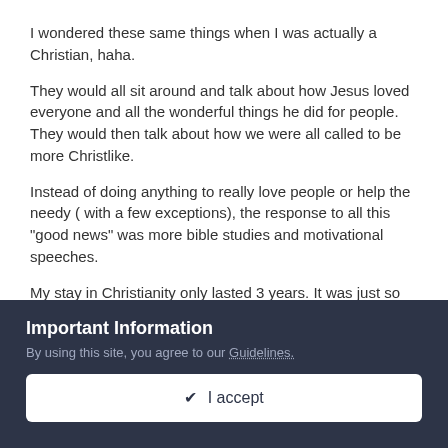I wondered these same things when I was actually a Christian, haha.
They would all sit around and talk about how Jesus loved everyone and all the wonderful things he did for people. They would then talk about how we were all called to be more Christlike.
Instead of doing anything to really love people or help the needy ( with a few exceptions), the response to all this "good news" was more bible studies and motivational speeches.
My stay in Christianity only lasted 3 years. It was just so boring. All talk- no action.
Important Information
By using this site, you agree to our Guidelines.
✔ I accept